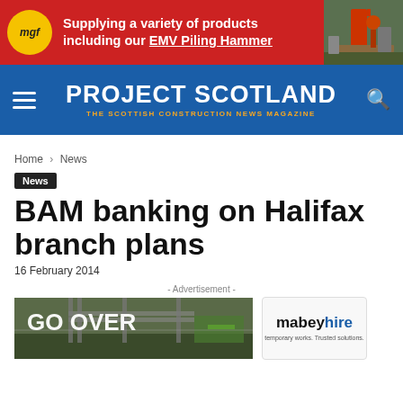[Figure (illustration): MGF advertisement banner: red background with MGF yellow circular logo, bold white text 'Supplying a variety of products including our EMV Piling Hammer', and a photo of construction machinery on the right.]
PROJECT SCOTLAND — THE SCOTTISH CONSTRUCTION NEWS MAGAZINE
Home › News
News
BAM banking on Halifax branch plans
16 February 2014
[Figure (illustration): Advertisement banner: left side shows a construction bridge/infrastructure photo with text 'GO OVER'; right side shows 'mabeyhire — temporary works. Trusted solutions.' logo.]